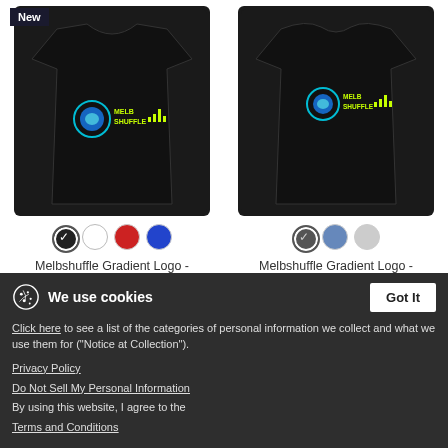[Figure (photo): Black kids moisture wicking performance t-shirt with Melbshuffle gradient logo. Has a 'New' badge in top-left corner.]
[Figure (photo): Black kids tri-blend t-shirt with Melbshuffle gradient logo.]
Melbshuffle Gradient Logo - Kids' Moisture Wicking Performance T-Shirt
$20.99
Melbshuffle Gradient Logo - Kids' Tri-Blend T-Shirt
$19.49
We use cookies
Click here to see a list of the categories of personal information we collect and what we use them for ("Notice at Collection").
Privacy Policy
Do Not Sell My Personal Information
By using this website, I agree to the Terms and Conditions